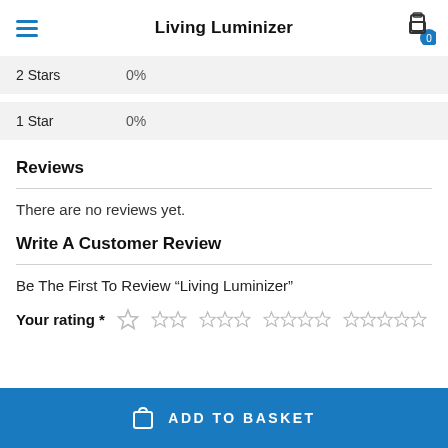Living Luminizer
2 Stars   0%
1 Star   0%
Reviews
There are no reviews yet.
Write A Customer Review
Be The First To Review “Living Luminizer”
Your rating *
ADD TO BASKET